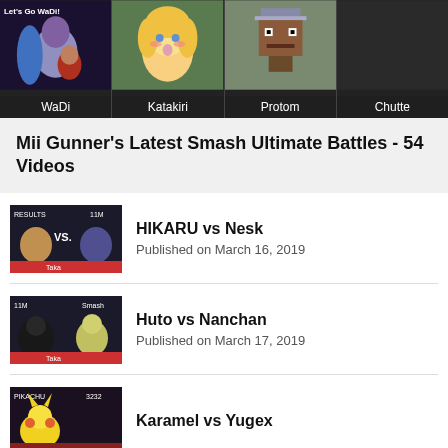[Figure (screenshot): Banner row with four streamer/player thumbnails: WaDi, Katakiri, Protom, Chutte]
Mii Gunner's Latest Smash Ultimate Battles - 54 Videos
[Figure (screenshot): Video thumbnail for HIKARU vs Nesk match]
HIKARU vs Nesk
Published on March 16, 2019
[Figure (screenshot): Video thumbnail for Huto vs Nanchan match]
Huto vs Nanchan
Published on March 17, 2019
[Figure (screenshot): Video thumbnail for Karamel vs Yugex match]
Karamel vs Yugex